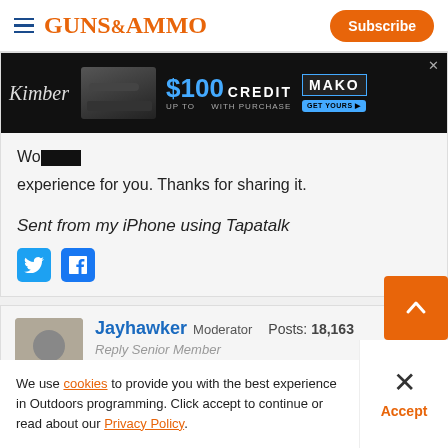Guns & Ammo | Subscribe
[Figure (screenshot): Kimber advertisement banner: $100 Credit with purchase, MAKO brand]
Wo[rld class...] experience for you. Thanks for sharing it.
Sent from my iPhone using Tapatalk
[Figure (logo): Twitter and Facebook social share icons]
Jayhawker Moderator  Posts: 18,163
Reply Senior Member
We use cookies to provide you with the best experience in Outdoors programming. Click accept to continue or read about our Privacy Policy.